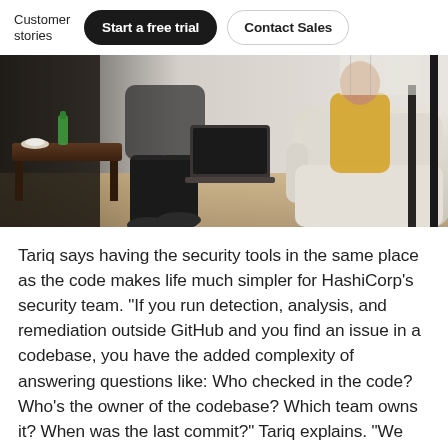Customer stories | Start a free trial | Contact Sales
[Figure (photo): People sitting in a living room/office space working on laptops. A person in black pants and shoes is seated in a large cream-colored armchair with a laptop. A wood coffee table with drinks is visible on the left. Another person in a yellow jacket is in the background.]
Tariq says having the security tools in the same place as the code makes life much simpler for HashiCorp's security team. “If you run detection, analysis, and remediation outside GitHub and you find an issue in a codebase, you have the added complexity of answering questions like: Who checked in the code? Who’s the owner of the codebase? Which team owns it? When was the last commit?” Tariq explains. “We